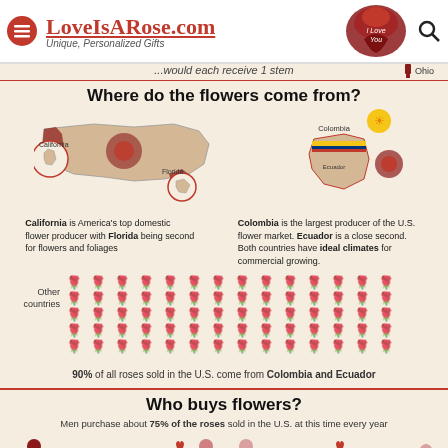LoveIsARose.com — Unique, Personalized Gifts
...would each receive 1 stem
Where do the flowers come from?
[Figure (infographic): Map of USA highlighting California and Florida as top domestic flower producers, and map of Colombia/Ecuador as top international suppliers]
California is America's top domestic flower producer with Florida being second for flowers and foliages
Colombia is the largest producer of the U.S. flower market. Ecuador is a close second. Both countries have ideal climates for commercial growing.
[Figure (infographic): Grid of rose icons representing flower origin proportions, labeled 'Other countries' on left, with 90% stat below]
90% of all roses sold in the U.S. come from Colombia and Ecuador
Who buys flowers?
Men purchase about 75% of the roses sold in the U.S. at this time every year
[Figure (infographic): Illustrated figures of men and women with flowers showing purchase proportions]